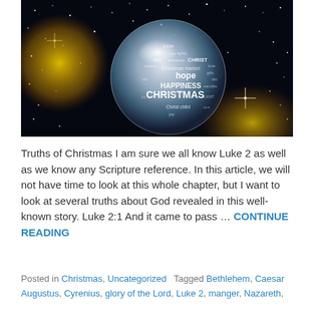[Figure (photo): A glass crystal ball against a dark starry night sky with golden bokeh light effects. The ball contains a word cloud with Christmas-related words including CHRISTMAS, hope, HAPPINESS, CHRIST, Christmas market, Christ child, faith, presents, candles, and others in white text.]
Truths of Christmas I am sure we all know Luke 2 as well as we know any Scripture reference. In this article, we will not have time to look at this whole chapter, but I want to look at several truths about God revealed in this well-known story. Luke 2:1 And it came to pass … CONTINUE READING
Posted in Christmas, Uncategorized   Tagged Bethlehem, Caesar Augustus, Cyrenius, glory of the Lord, Luke 2, manger, Nazareth,